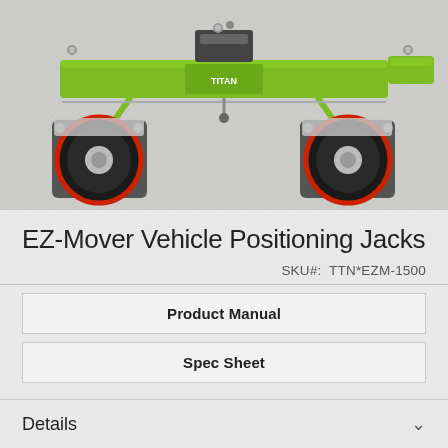[Figure (photo): Top-down view of EZ-Mover vehicle positioning jack with bright green metal frame and two large black rubber caster wheels with red ring detail, on a light grey textured background]
EZ-Mover Vehicle Positioning Jacks
SKU#:  TTN*EZM-1500
Product Manual
Spec Sheet
Details